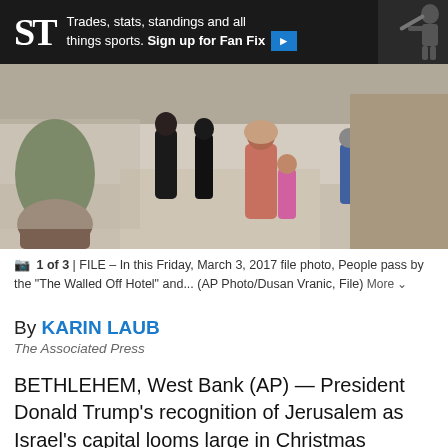[Figure (screenshot): Seattle Times advertisement banner: dark background with stylized 'ST' gothic logo, text reading 'Trades, stats, standings and all things sports. Sign up for Fan Fix' with blue arrow button, and a baseball player image on the right.]
[Figure (photo): FILE – In this Friday, March 3, 2017 file photo, People pass by the 'The Walled Off Hotel' and... (AP Photo/Dusan Vranic, File)]
1 of 3 | FILE – In this Friday, March 3, 2017 file photo, People pass by the "The Walled Off Hotel" and... (AP Photo/Dusan Vranic, File) More
By KARIN LAUB
The Associated Press
BETHLEHEM, West Bank (AP) — President Donald Trump's recognition of Jerusalem as Israel's capital looms large in Christmas festivities this year in the traditional birthplace of Jesus.